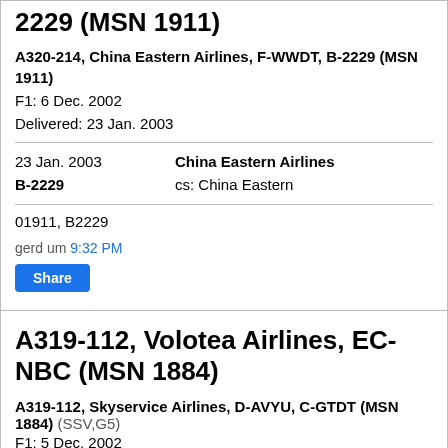2229 (MSN 1911)
A320-214, China Eastern Airlines, F-WWDT, B-2229 (MSN 1911)
F1: 6 Dec. 2002
Delivered: 23 Jan. 2003
| Date | Operator/Info |
| --- | --- |
| 23 Jan. 2003
B-2229 | China Eastern Airlines
cs: China Eastern |
01911, B2229
gerd um 9:32 PM
A319-112, Volotea Airlines, EC-NBC (MSN 1884)
A319-112, Skyservice Airlines, D-AVYU, C-GTDT (MSN 1884) (SSV,G5)
F1: 5 Dec. 2002